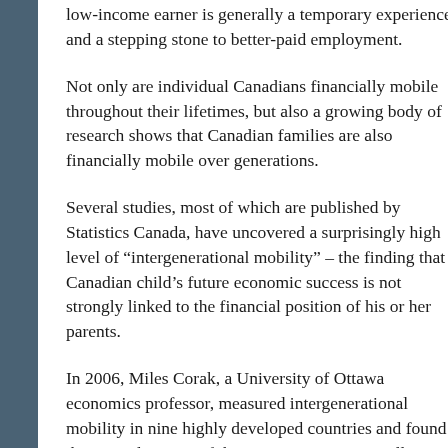low-income earner is generally a temporary experience and a stepping stone to better-paid employment.
Not only are individual Canadians financially mobile throughout their lifetimes, but also a growing body of research shows that Canadian families are also financially mobile over generations.
Several studies, most of which are published by Statistics Canada, have uncovered a surprisingly high level of “intergenerational mobility” – the finding that a Canadian child’s future economic success is not strongly linked to the financial position of his or her parents.
In 2006, Miles Corak, a University of Ottawa economics professor, measured intergenerational mobility in nine highly developed countries and found that Canada is one of the most intergenerationally mobile societies in the developed world; a conclusion that is consistent with Organization for